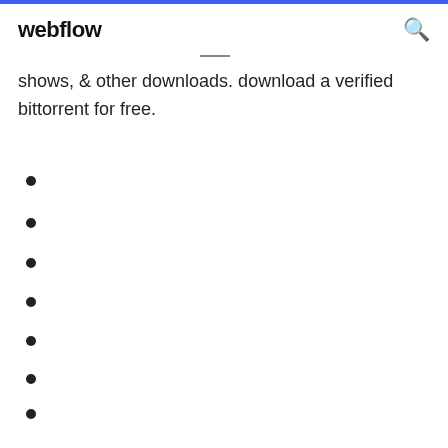webflow
shows, & other downloads. download a verified bittorrent for free.
983
1789
1781